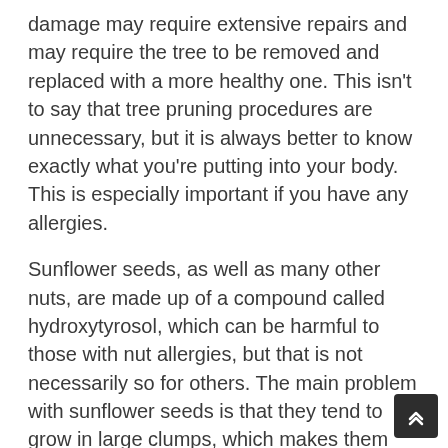damage may require extensive repairs and may require the tree to be removed and replaced with a more healthy one. This isn't to say that tree pruning procedures are unnecessary, but it is always better to know exactly what you're putting into your body. This is especially important if you have any allergies.
Sunflower seeds, as well as many other nuts, are made up of a compound called hydroxytyrosol, which can be harmful to those with nut allergies, but that is not necessarily so for others. The main problem with sunflower seeds is that they tend to grow in large clumps, which makes them difficult to extract. This leads to the extra step of using a pressurized device to separate the seeds from the rest of the nut. While this is inconvenient, nut-free diets often include lots of nuts anyway and are easier to stick to than those that include peanuts and tree nuts.